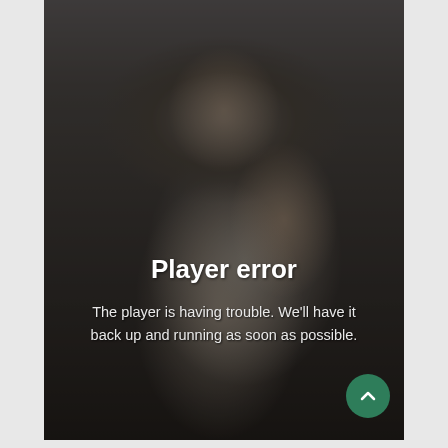[Figure (screenshot): A video player showing a woman holding up a small bottle with a green label, wearing glasses and a striped shirt. The video player is displaying an error state with a dark overlay.]
Player error
The player is having trouble. We'll have it back up and running as soon as possible.